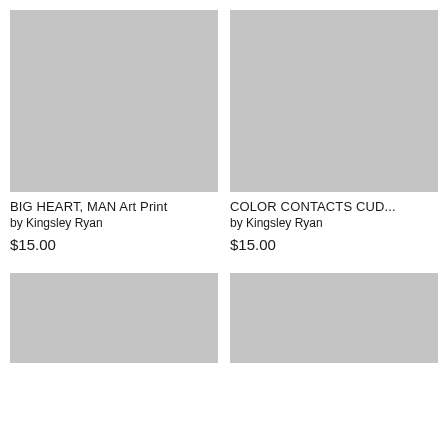[Figure (photo): Gray placeholder image for BIG HEART, MAN Art Print]
BIG HEART, MAN Art Print
by Kingsley Ryan
$15.00
[Figure (photo): Gray placeholder image for COLOR CONTACTS CUD...]
COLOR CONTACTS CUD...
by Kingsley Ryan
$15.00
[Figure (photo): Gray placeholder image, bottom left]
[Figure (photo): Gray placeholder image, bottom right]